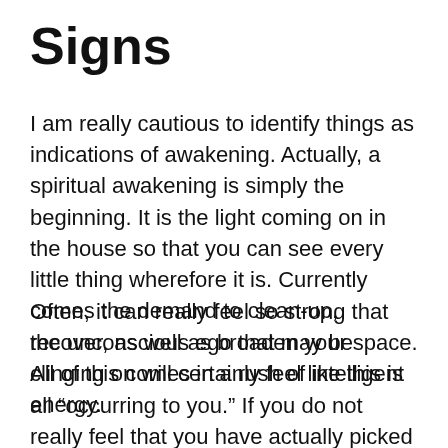Signs
I am really cautious to identify things as indications of awakening. Actually, a spiritual awakening is simply the beginning. It is the light coming on in the house so that you can see every little thing wherefore it is. Currently comes the demand to clean-up, recover, as well as broaden your space. All of this comes in a rush of intelligent energy.
Often, it can really feel so strong that the unconscious ego that may be clinging on will certainly feel like this is all “occurring to you.” If you do not really feel that you have actually picked this extreme spiritual change, then currently is an especially vital